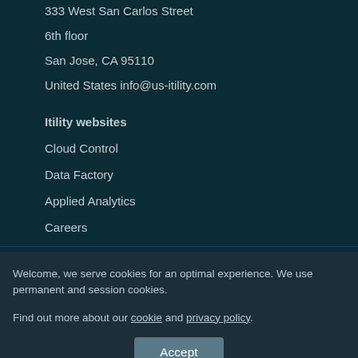333 West San Carlos Street
6th floor
San Jose, CA 95110
United States info@us-itility.com
Itility websites
Cloud Control
Data Factory
Applied Analytics
Careers
Welcome, we serve cookies for an optimal experience. We use permanent and session cookies.
Find out more about our cookie and privacy policy.